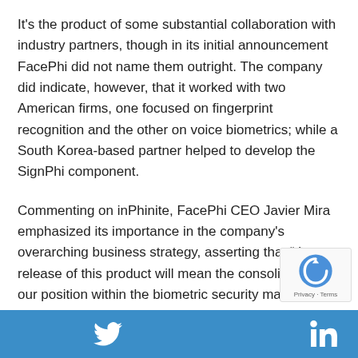It's the product of some substantial collaboration with industry partners, though in its initial announcement FacePhi did not name them outright. The company did indicate, however, that it worked with two American firms, one focused on fingerprint recognition and the other on voice biometrics; while a South Korea-based partner helped to develop the SignPhi component.
Commenting on inPhinite, FacePhi CEO Javier Mira emphasized its importance in the company's overarching business strategy, asserting that "the release of this product will mean the consolidation of our position within the biometric security market in financial entities."
Accordingly, FacePhi plans to show off the solution ... which ... nd